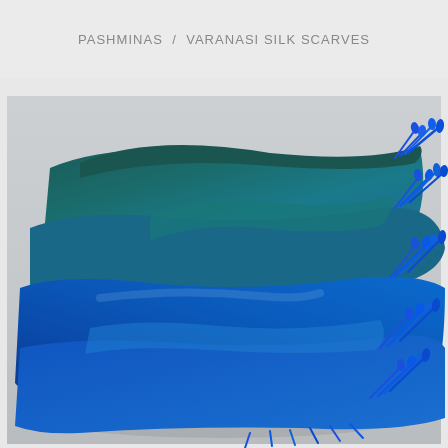PASHMINAS / VARANASI SILK SCARVES
[Figure (photo): A folded blue and teal pashmina/silk scarf with bright blue fringe tassels, photographed against a light grey background. The fabric shows gradient coloring from deep teal to bright royal blue.]